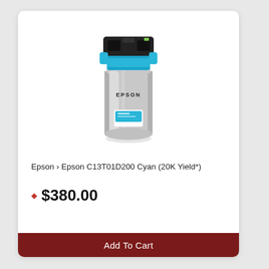[Figure (photo): Epson C13T01D200 Cyan ink cartridge/pack — a large metallic silver ink bag with a black and cyan plastic top connector, EPSON branding on the front, and a cyan label near the bottom.]
Epson › Epson C13T01D200 Cyan (20K Yield*)
◈ $380.00
Add To Cart